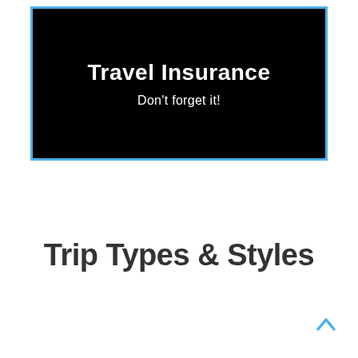[Figure (other): Black banner with blue border containing 'Travel Insurance' title and 'Don't forget it!' subtitle in white text on black background]
Trip Types & Styles